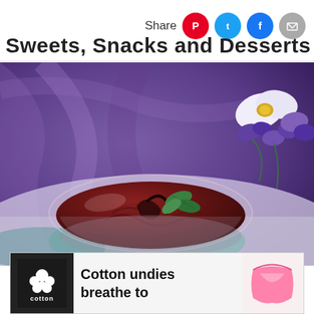Share
Sweets, Snacks and Desserts
[Figure (photo): A glass bowl of chocolate mousse or pudding garnished with mint leaves, set against a purple draped fabric background with purple and white flowers]
Cotton undies breathe to